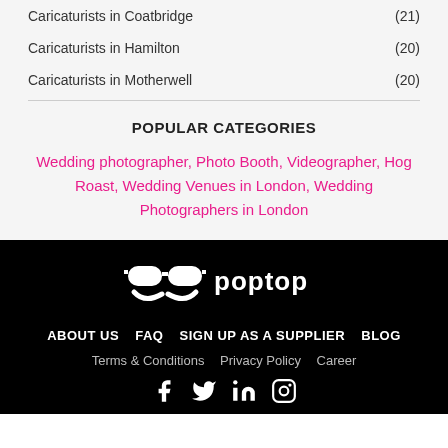Caricaturists in Coatbridge (21)
Caricaturists in Hamilton (20)
Caricaturists in Motherwell (20)
POPULAR CATEGORIES
Wedding photographer, Photo Booth, Videographer, Hog Roast, Wedding Venues in London, Wedding Photographers in London
[Figure (logo): Poptop logo - sunglasses icon with 'poptop' text in white on black background]
ABOUT US  FAQ  SIGN UP AS A SUPPLIER  BLOG  Terms & Conditions  Privacy Policy  Career
[Figure (other): Social media icons: Facebook, Twitter, LinkedIn, Instagram in white on black background]